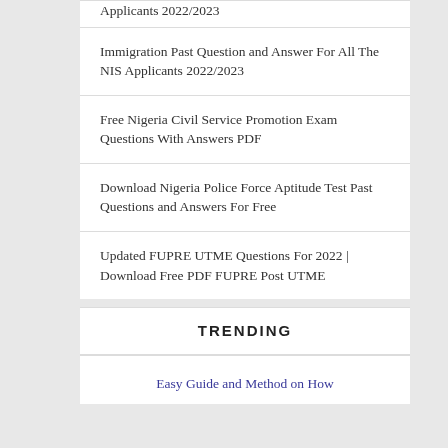Applicants 2022/2023
Immigration Past Question and Answer For All The NIS Applicants 2022/2023
Free Nigeria Civil Service Promotion Exam Questions With Answers PDF
Download Nigeria Police Force Aptitude Test Past Questions and Answers For Free
Updated FUPRE UTME Questions For 2022 | Download Free PDF FUPRE Post UTME
TRENDING
Easy Guide and Method on How